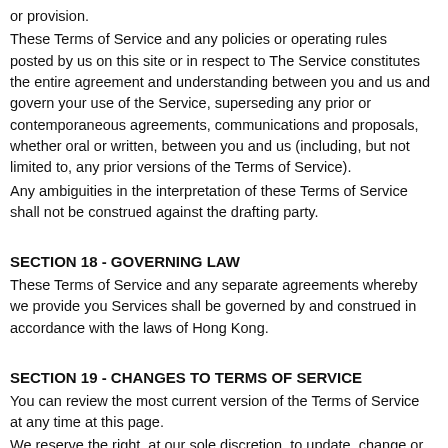or provision.
These Terms of Service and any policies or operating rules posted by us on this site or in respect to The Service constitutes the entire agreement and understanding between you and us and govern your use of the Service, superseding any prior or contemporaneous agreements, communications and proposals, whether oral or written, between you and us (including, but not limited to, any prior versions of the Terms of Service).
Any ambiguities in the interpretation of these Terms of Service shall not be construed against the drafting party.
SECTION 18 - GOVERNING LAW
These Terms of Service and any separate agreements whereby we provide you Services shall be governed by and construed in accordance with the laws of Hong Kong.
SECTION 19 - CHANGES TO TERMS OF SERVICE
You can review the most current version of the Terms of Service at any time at this page.
We reserve the right, at our sole discretion, to update, change or replace any part of these Terms of Service by posting updates and